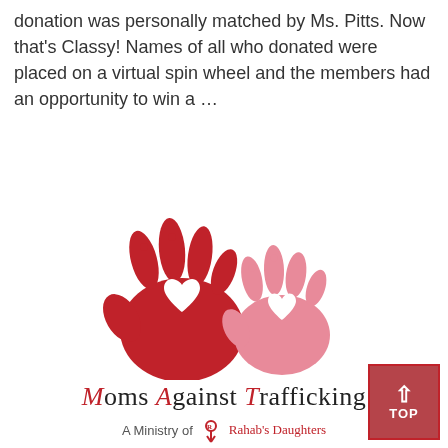donation was personally matched by Ms. Pitts. Now that's Classy! Names of all who donated were placed on a virtual spin wheel and the members had an opportunity to win a ...
[Figure (logo): Moms Against Trafficking logo: two handprints (one large red, one smaller pink) each with a white heart cutout, above the text 'Moms Against Trafficking' and 'A Ministry of Rahab's Daughters']